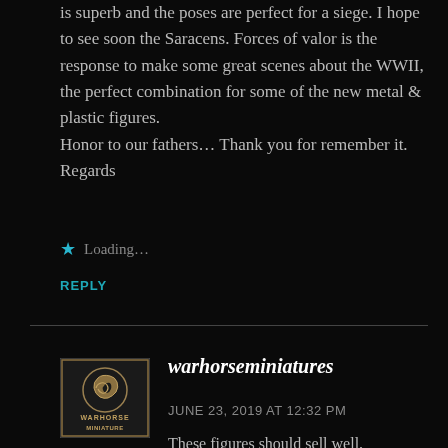is superb and the poses are perfect for a siege. I hope to see soon the Saracens. Forces of valor is the response to make some great scenes about the WWII, the perfect combination for some of the new metal & plastic figures.
Honor to our fathers… Thank you for remember it. Regards
Loading…
REPLY
[Figure (logo): Warhorse Miniatures logo — gold emblem with stylized horse head and text WARHORSE MINIATURE]
warhorseminiatures
JUNE 23, 2019 AT 12:32 PM
These figures should sell well. Everyone